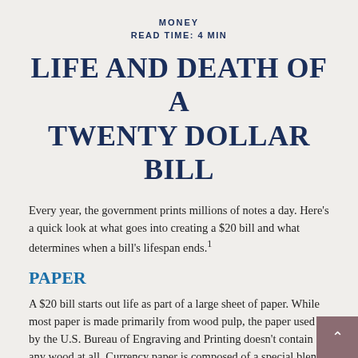MONEY
READ TIME: 4 MIN
LIFE AND DEATH OF A TWENTY DOLLAR BILL
Every year, the government prints millions of notes a day. Here's a quick look at what goes into creating a $20 bill and what determines when a bill's lifespan ends.¹
PAPER
A $20 bill starts out life as part of a large sheet of paper. While most paper is made primarily from wood pulp, the paper used by the U.S. Bureau of Engraving and Printing doesn't contain any wood at all. Currency paper is composed of a special blend of 75% cotton and 25% linen, along with special colored threads woven into...